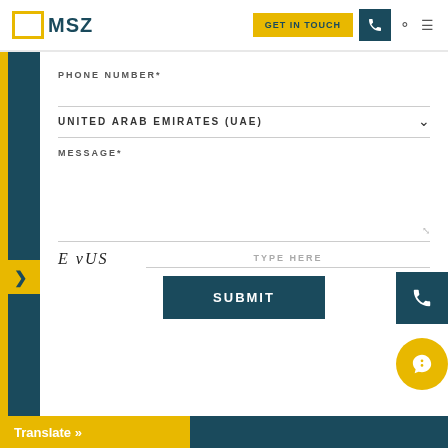MSZ | GET IN TOUCH
PHONE NUMBER*
UNITED ARAB EMIRATES (UAE)
MESSAGE*
TYPE HERE
[Figure (other): CAPTCHA image showing stylized text: E vUS]
SUBMIT
Translate »